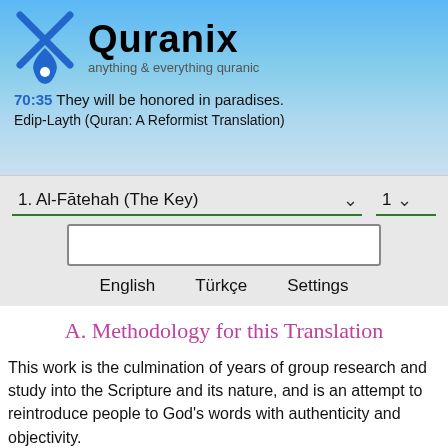[Figure (logo): Quranix logo with blue X/teardrop symbol and text 'Quranix anything & everything quranic']
70:35 They will be honored in paradises.
Edip-Layth (Quran: A Reformist Translation)
1. Al-Fātehah (The Key)  ∨  1  ∨
[search box]
English    Türkçe    Settings
A. Methodology for this Translation
This work is the culmination of years of group research and study into the Scripture and its nature, and is an attempt to reintroduce people to God's words with authenticity and objectivity.
The most significant point is that the work was done by a group of